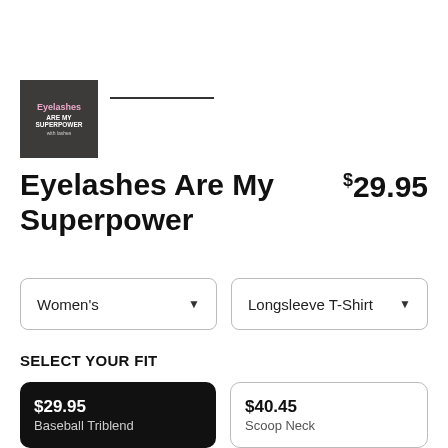[Figure (illustration): Small square product thumbnail on dark gray background showing stylized text 'Eyelashes Are My Superpower' in pink and white script]
Eyelashes Are My Superpower
$29.95
Women's
Longsleeve T-Shirt
SELECT YOUR FIT
$29.95
Baseball Triblend
$40.45
Scoop Neck